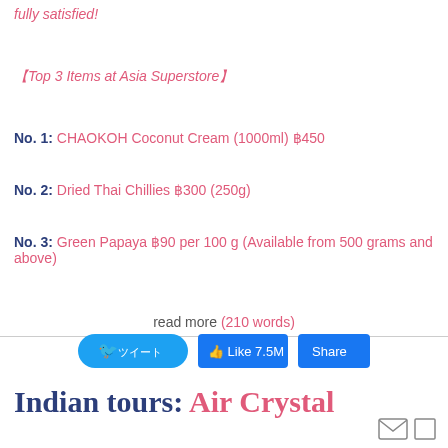fully satisfied!
【Top 3 Items at Asia Superstore】
No. 1: CHAOKOH Coconut Cream (1000ml) ฿450
No. 2: Dried Thai Chillies ฿300 (250g)
No. 3: Green Papaya ฿90 per 100 g (Available from 500 grams and above)
read more (210 words)
Indian tours: Air Crystal